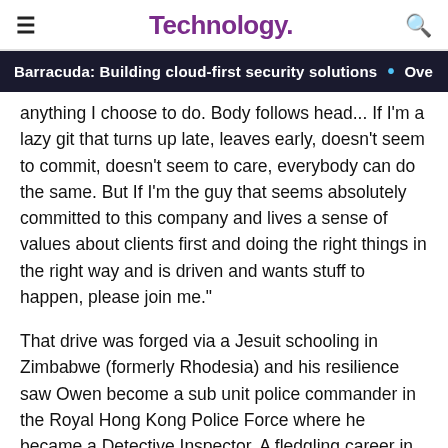Technology.
Barracuda: Building cloud-first security solutions · Ove
anything I choose to do. Body follows head... If I'm a lazy git that turns up late, leaves early, doesn't seem to commit, doesn't seem to care, everybody can do the same. But If I'm the guy that seems absolutely committed to this company and lives a sense of values about clients first and doing the right things in the right way and is driven and wants stuff to happen, please join me."
That drive was forged via a Jesuit schooling in Zimbabwe (formerly Rhodesia) and his resilience saw Owen become a sub unit police commander in the Royal Hong Kong Police Force where he became a Detective Inspector. A fledgling career in law as a litigator with the royally appointed firm Farrer & Co. was followed by a stint with the Asia Foundation,